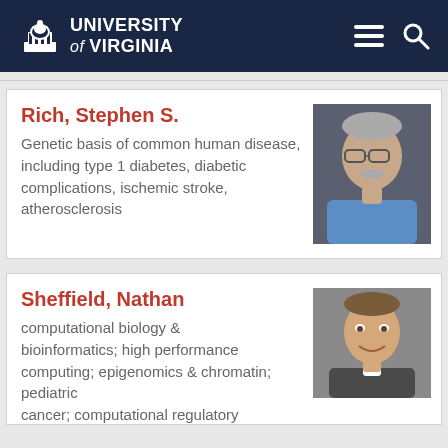University of Virginia
[Figure (photo): Headshot of Stephen S. Rich, an older man with glasses and gray hair wearing a blue shirt]
Rich, Stephen S.
Genetic basis of common human disease, including type 1 diabetes, diabetic complications, ischemic stroke, atherosclerosis
[Figure (photo): Headshot of Nathan Sheffield, a smiling man with short brown hair wearing a suit]
Sheffield, Nathan
computational biology & bioinformatics; high performance computing; epigenomics & chromatin; pediatric cancer; computational regulatory genomics;